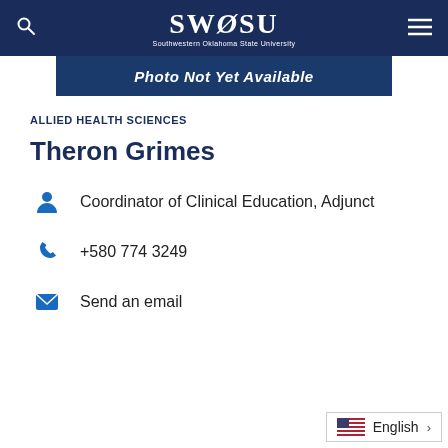SWOSU - Southwestern Oklahoma State University
[Figure (photo): Photo Not Yet Available banner image in dark blue]
ALLIED HEALTH SCIENCES
Theron Grimes
Coordinator of Clinical Education, Adjunct
+580 774 3249
Send an email
English